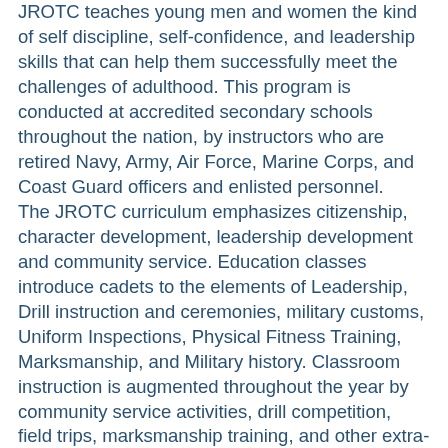JROTC teaches young men and women the kind of self discipline, self-confidence, and leadership skills that can help them successfully meet the challenges of adulthood. This program is conducted at accredited secondary schools throughout the nation, by instructors who are retired Navy, Army, Air Force, Marine Corps, and Coast Guard officers and enlisted personnel. The JROTC curriculum emphasizes citizenship, character development, leadership development and community service. Education classes introduce cadets to the elements of Leadership, Drill instruction and ceremonies, military customs, Uniform Inspections, Physical Fitness Training, Marksmanship, and Military history. Classroom instruction is augmented throughout the year by community service activities, drill competition, field trips, marksmanship training, and other extra-curricular activities. Cadets are required to participate in civic service, wear a uniform and dress up at least twice a month. Uniforms, textbooks, training aids, and a substantial portion of instructors' salaries are provided by the Military. The programs, run through